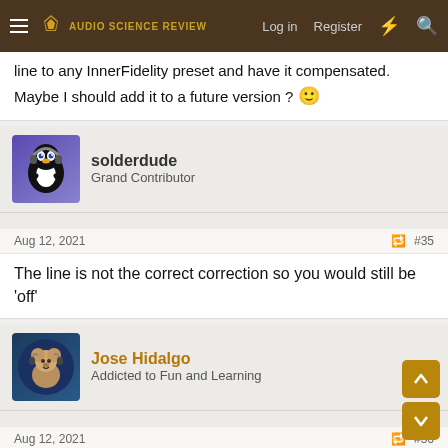Audio Science Review — Log in | Register
line to any InnerFidelity preset and have it compensated. Maybe I should add it to a future version ? 🙂
solderdude
Grand Contributor
Aug 12, 2021   #35
The line is not the correct correction so you would still be 'off'
Jose Hidalgo
Addicted to Fun and Learning
Aug 12, 2021   #36
Didn't you say it yourself already ?
solderdude said: ⊕
This 'target' will get you closer to reality (it is not an exact target)